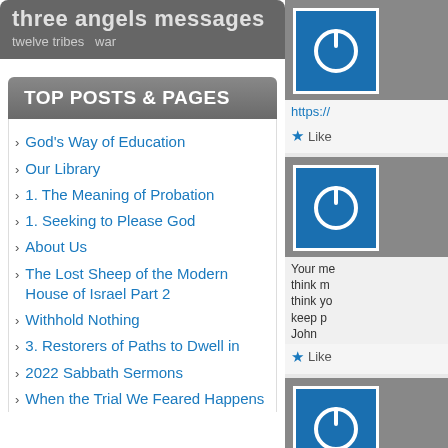three angels messages
twelve tribes  war
TOP POSTS & PAGES
God's Way of Education
Our Library
1. The Meaning of Probation
1. Seeking to Please God
About Us
The Lost Sheep of the Modern House of Israel Part 2
Withhold Nothing
3. Restorers of Paths to Dwell in
2022 Sabbath Sermons
When the Trial We Feared Happens
[Figure (logo): Blue power button icon on gray background]
https://
★ Like
[Figure (logo): Blue power button icon on gray background]
Your me think m think yo keep p John
★ Like
[Figure (logo): Blue power button icon on gray background]